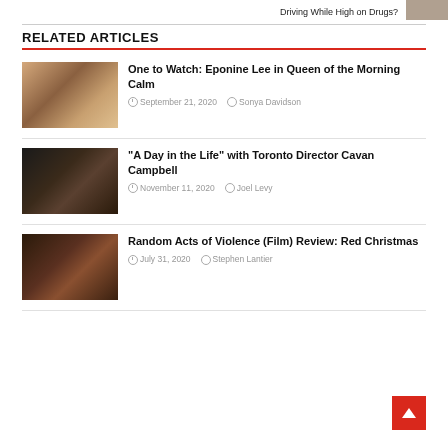Driving While High on Drugs?
RELATED ARTICLES
One to Watch: Eponine Lee in Queen of the Morning Calm
September 21, 2020  Sonya Davidson
“A Day in the Life” with Toronto Director Cavan Campbell
November 11, 2020  Joel Levy
Random Acts of Violence (Film) Review: Red Christmas
July 31, 2020  Stephen Lantier